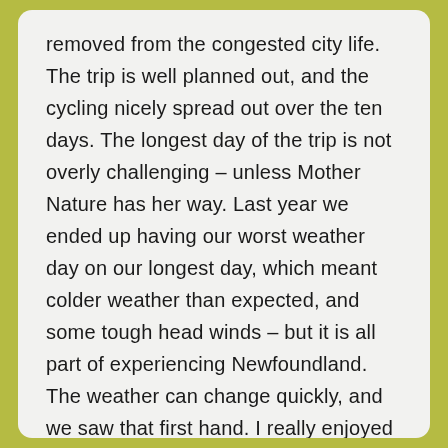removed from the congested city life. The trip is well planned out, and the cycling nicely spread out over the ten days. The longest day of the trip is not overly challenging – unless Mother Nature has her way. Last year we ended up having our worst weather day on our longest day, which meant colder weather than expected, and some tough head winds – but it is all part of experiencing Newfoundland. The weather can change quickly, and we saw that first hand. I really enjoyed the trip, and would highly recommend it.